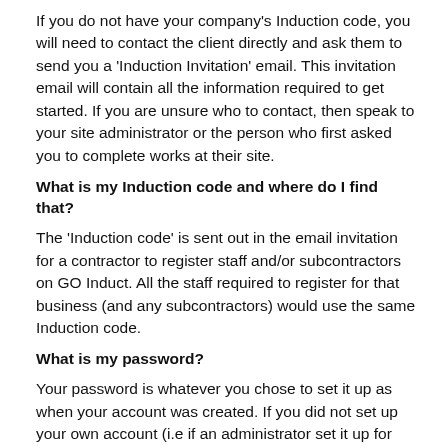If you do not have your company's Induction code, you will need to contact the client directly and ask them to send you a 'Induction Invitation' email. This invitation email will contain all the information required to get started. If you are unsure who to contact, then speak to your site administrator or the person who first asked you to complete works at their site.
What is my Induction code and where do I find that?
The 'Induction code' is sent out in the email invitation for a contractor to register staff and/or subcontractors on GO Induct. All the staff required to register for that business (and any subcontractors) would use the same Induction code.
What is my password?
Your password is whatever you chose to set it up as when your account was created. If you did not set up your own account (i.e if an administrator set it up for you), then you can ask your administrator what they registered your password to be.
If you do not remember what your password is, you can click on the "forgotten your username or password" link to